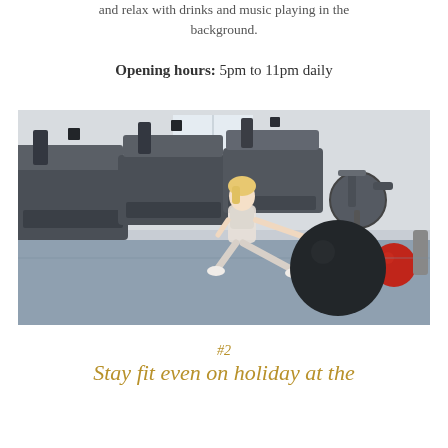and relax with drinks and music playing in the background.
Opening hours: 5pm to 11pm daily
[Figure (photo): A woman in white patterned athletic wear doing a lateral lunge stretch with a large dark exercise ball on a gym floor, with several treadmills visible in the background and a red medicine ball on the right side.]
#2
Stay fit even on holiday at the